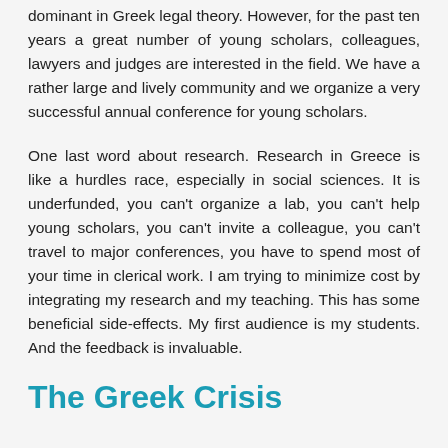dominant in Greek legal theory. However, for the past ten years a great number of young scholars, colleagues, lawyers and judges are interested in the field. We have a rather large and lively community and we organize a very successful annual conference for young scholars.
One last word about research. Research in Greece is like a hurdles race, especially in social sciences. It is underfunded, you can't organize a lab, you can't help young scholars, you can't invite a colleague, you can't travel to major conferences, you have to spend most of your time in clerical work. I am trying to minimize cost by integrating my research and my teaching. This has some beneficial side-effects. My first audience is my students. And the feedback is invaluable.
The Greek Crisis